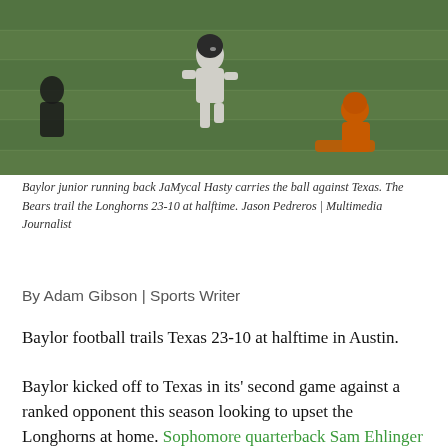[Figure (photo): Baylor junior running back JaMycal Hasty carrying the ball against Texas on a football field. A Texas defender is on the ground nearby.]
Baylor junior running back JaMycal Hasty carries the ball against Texas. The Bears trail the Longhorns 23-10 at halftime. Jason Pedreros | Multimedia Journalist
By Adam Gibson | Sports Writer
Baylor football trails Texas 23-10 at halftime in Austin.
Baylor kicked off to Texas in its' second game against a ranked opponent this season looking to upset the Longhorns at home. Sophomore quarterback Sam Ehlinger came out on the field to lead Texas on its first drive of the game. After 10 plays, Ehlinger completed four of his five passing attempts for 35 yards but had to leave due to an apparent upper body injury which